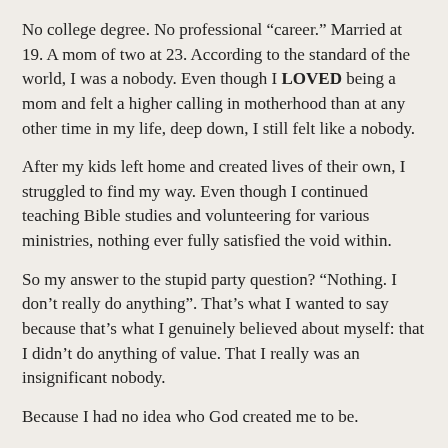No college degree. No professional “career.” Married at 19. A mom of two at 23. According to the standard of the world, I was a nobody. Even though I LOVED being a mom and felt a higher calling in motherhood than at any other time in my life, deep down, I still felt like a nobody.
After my kids left home and created lives of their own, I struggled to find my way. Even though I continued teaching Bible studies and volunteering for various ministries, nothing ever fully satisfied the void within.
So my answer to the stupid party question? “Nothing. I don’t really do anything”. That’s what I wanted to say because that’s what I genuinely believed about myself: that I didn’t do anything of value. That I really was an insignificant nobody.
Because I had no idea who God created me to be.
For years I’d heard the message that my identity was in Christ, but I didn’t fully comprehend what that actually meant. Therefore, I felt driven to define myself by the world’s standard rather than my relationship with Jesus.